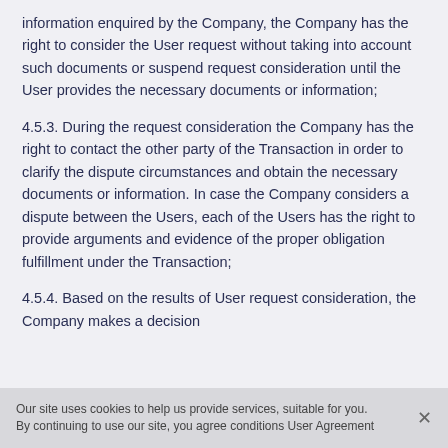information enquired by the Company, the Company has the right to consider the User request without taking into account such documents or suspend request consideration until the User provides the necessary documents or information;
4.5.3. During the request consideration the Company has the right to contact the other party of the Transaction in order to clarify the dispute circumstances and obtain the necessary documents or information. In case the Company considers a dispute between the Users, each of the Users has the right to provide arguments and evidence of the proper obligation fulfillment under the Transaction;
4.5.4. Based on the results of User request consideration, the Company makes a decision
Our site uses cookies to help us provide services, suitable for you. By continuing to use our site, you agree conditions User Agreement